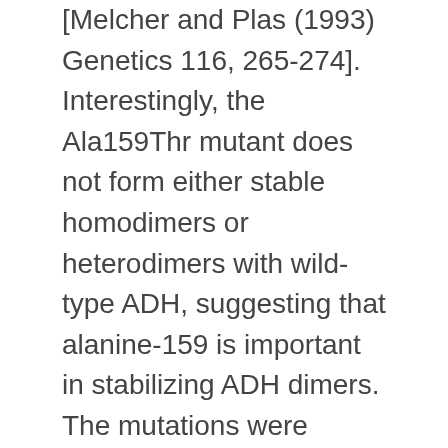[Melcher and Plas (1993) Genetics 116, 265-274]. Interestingly, the Ala159Thr mutant does not form either stable homodimers or heterodimers with wild-type ADH, suggesting that alanine-159 is important in stabilizing ADH dimers. The mutations were analysed in terms of a three-dimensional model of ADH using bacterial 20 beta-hydroxysteroid dehydrogenase and rat dihydropteridine reductase as templates. The model indicates that mutations in glycine-17 and glycine-93 affect the binding of NAD+. It also shows that alanine-159 is part of a hydrophobic anchor on the dimer interface of ADH. Replacement of alanine-159 with threonine, which has a larger side chain and can hydrogen bond with water, is likely to